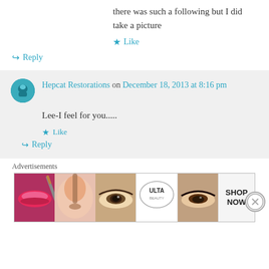there was such a following but I did take a picture
★ Like
↪ Reply
Hepcat Restorations on December 18, 2013 at 8:16 pm
Lee-I feel for you.....
★ Like
↪ Reply
Advertisements
[Figure (photo): Ulta Beauty advertisement banner with makeup/cosmetic images and SHOP NOW call to action]